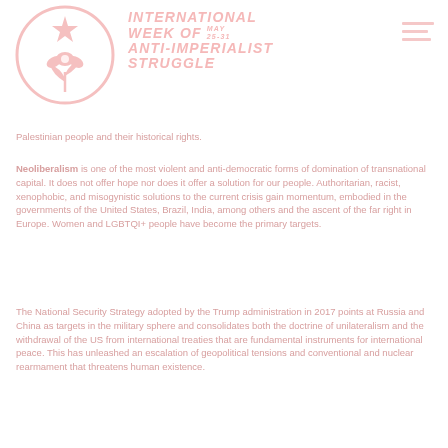[Figure (logo): Circular logo with a star and flower/plant design inside, in light pink color. International Week of Anti-Imperialist Struggle logo.]
INTERNATIONAL WEEK OF MAY 25-31 ANTI-IMPERIALIST STRUGGLE
Palestinian people and their historical rights.
Neoliberalism is one of the most violent and anti-democratic forms of domination of transnational capital. It does not offer hope nor does it offer a solution for our people. Authoritarian, racist, xenophobic, and misogynistic solutions to the current crisis gain momentum, embodied in the governments of the United States, Brazil, India, among others and the ascent of the far right in Europe. Women and LGBTQI+ people have become the primary targets.
The National Security Strategy adopted by the Trump administration in 2017 points at Russia and China as targets in the military sphere and consolidates both the doctrine of unilateralism and the withdrawal of the US from international treaties that are fundamental instruments for international peace. This has unleashed an escalation of geopolitical tensions and conventional and nuclear rearmament that threatens human existence.